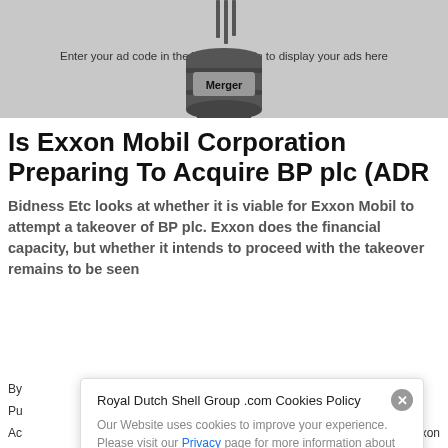[Figure (illustration): Oil barrel labeled 'Merger' on a grey ad banner background with pencils in the top, and text 'Enter your ad code in the Widget Admin to display your ads here']
Is Exxon Mobil Corporation Preparing To Acquire BP plc (ADR
Bidness Etc looks at whether it is viable for Exxon Mobil to attempt a takeover of BP plc. Exxon does the financial capacity, but whether it intends to proceed with the takeover remains to be seen
By
Pu
Ac
Exxon
Royal Dutch Shell Group .com Cookies Policy
Our Website uses cookies to improve your experience. Please visit our Privacy page for more information about cookies and how we use them.